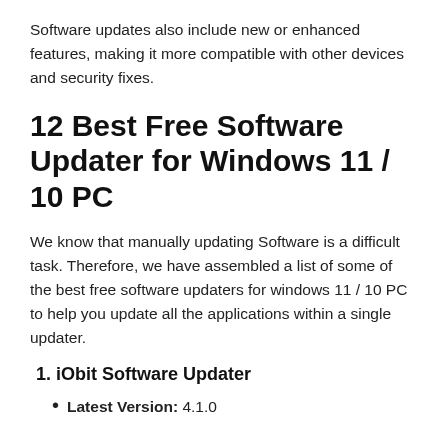Software updates also include new or enhanced features, making it more compatible with other devices and security fixes.
12 Best Free Software Updater for Windows 11 / 10 PC
We know that manually updating Software is a difficult task. Therefore, we have assembled a list of some of the best free software updaters for windows 11 / 10 PC to help you update all the applications within a single updater.
1. iObit Software Updater
Latest Version: 4.1.0